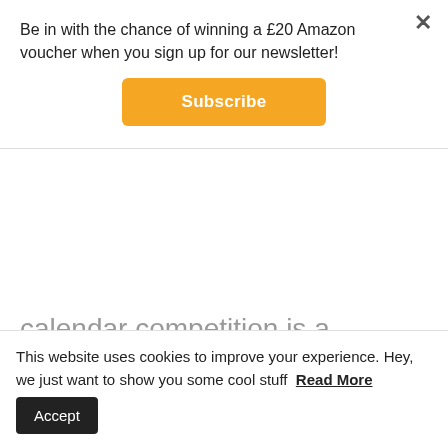Be in with the chance of winning a £20 Amazon voucher when you sign up for our newsletter!
Subscribe
calendar competition is a fantastic way for local North Worcestershire businesses to get PR and it's not just the month they are, but the whole year as it's always a talking point. It is a joint venture between North Worcestershire Economic Development (NWedR) and NWBL (North Worcestershire Business Leaders) with
This website uses cookies to improve your experience. Hey, we just want to show you some cool stuff  Read More  Accept